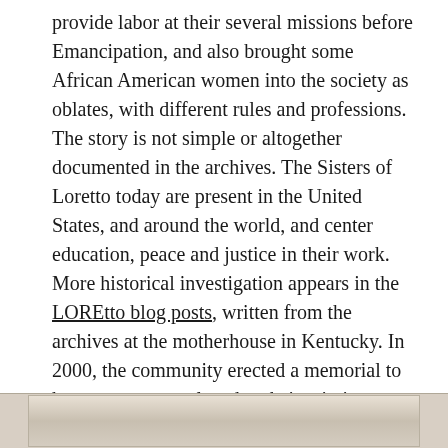provide labor at their several missions before Emancipation, and also brought some African American women into the society as oblates, with different rules and professions. The story is not simple or altogether documented in the archives. The Sisters of Loretto today are present in the United States, and around the world, and center education, peace and justice in their work. More historical investigation appears in the LOREtto blog posts, written from the archives at the motherhouse in Kentucky. In 2000, the community erected a memorial to honor persons enslaved at their missions. Sisters of Loretto continue reckoning with their historical relationships with people of color at Little Loretto and other places, as they research their own and related archives regarding slavery and Native American children at Loretto-run schools.
[Figure (photo): Partial view of a faded historical photograph or document image at the bottom of the page]